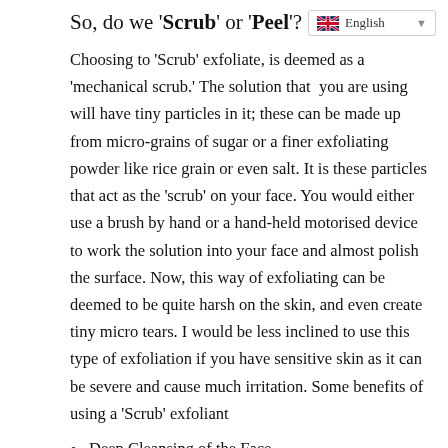So, do we 'Scrub' or 'Peel'?
Choosing to 'Scrub' exfoliate, is deemed as a 'mechanical scrub.' The solution that you are using will have tiny particles in it; these can be made up from micro-grains of sugar or a finer exfoliating powder like rice grain or even salt. It is these particles that act as the 'scrub' on your face. You would either use a brush by hand or a hand-held motorised device to work the solution into your face and almost polish the surface. Now, this way of exfoliating can be deemed to be quite harsh on the skin, and even create tiny micro tears. I would be less inclined to use this type of exfoliation if you have sensitive skin as it can be severe and cause much irritation. Some benefits of using a 'Scrub' exfoliant
Deep Cleansing of the Face
Remove Blackheads